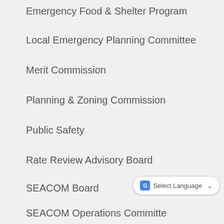Emergency Food & Shelter Program
Local Emergency Planning Committee
Merit Commission
Planning & Zoning Commission
Public Safety
Rate Review Advisory Board
SEACOM Board
SEACOM Operations Committee
Tourism & Economic Council